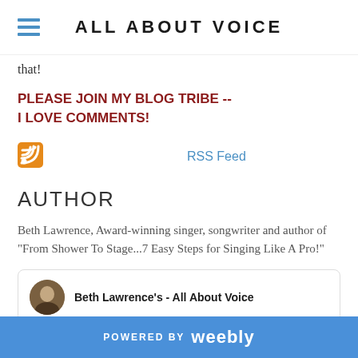ALL ABOUT VOICE
that!
PLEASE JOIN MY BLOG TRIBE -- I LOVE COMMENTS!
[Figure (infographic): RSS feed icon (orange/yellow square with white wifi symbol) next to RSS Feed link]
AUTHOR
Beth Lawrence, Award-winning singer, songwriter and author of "From Shower To Stage...7 Easy Steps for Singing Like A Pro!"
[Figure (screenshot): Facebook page card for Beth Lawrence's - All About Voice with avatar photo and three colored image thumbnails (teal, olive, purple)]
POWERED BY weebly